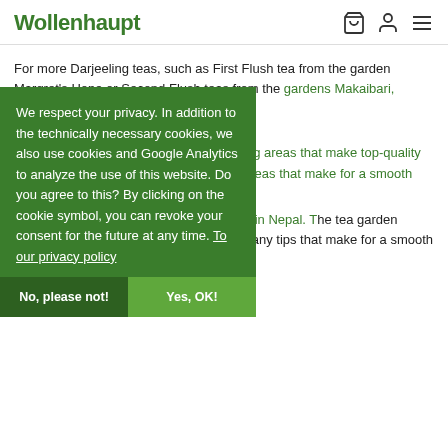Wollenhaupt
For more Darjeeling teas, such as First Flush tea from the garden Margret's Hope or Second Flush teas from the gardens Makaibari, Okayti or Pussimbing click here.
Nepal
Besides Darjeeling there are other growing areas that make top-quality teas with similar qualities. One of these is Nepal.
We respect your privacy. In addition to the technically necessary cookies, we also use cookies and Google Analytics to analyze the use of this website. Do you agree to this? By clicking on the cookie symbol, you can revoke your consent for the future at any time. To our privacy policy
No, please not!
Yes, OK!
Among them are the Guranse tea garden in Nepal. The tea garden provides a very pleasant first flush with many tips that make for a smooth and comparatively green cup.